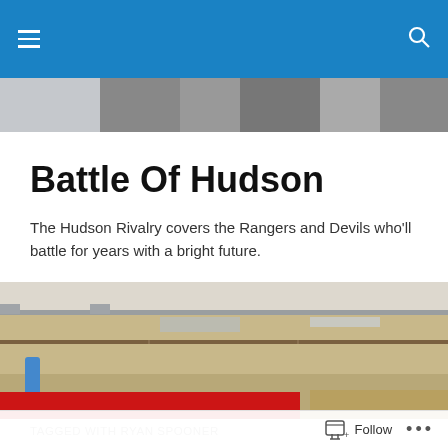Battle Of Hudson - navigation bar
[Figure (photo): Header photo strip showing hockey-related imagery]
Battle Of Hudson
The Hudson Rivalry covers the Rangers and Devils who'll battle for years with a bright future.
[Figure (photo): Locker room photo showing wooden lockers with hockey jerseys (red) at the bottom]
TAGGED WITH RYAN SPOONER
Good teammate DeAngelo